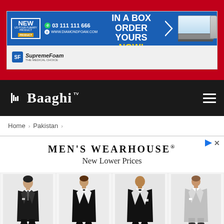[Figure (screenshot): Supreme Foam / Diamond Foam advertisement banner showing 'NEW PRODUCT', phone number 03 111 111 666, www.diamondfoam.com, mattress promotion 'MATTRESS IN A BOX ORDER YOURS NOW!', SupremeFoam logo at bottom]
[Figure (logo): Baaghi TV logo with navigation bar on dark background with hamburger menu icon]
Home > Pakistan >
[Figure (screenshot): Men's Wearhouse advertisement showing brand name 'MEN'S WEARHOUSE®', tagline 'New Lower Prices', and four men in formal suits/tuxedos]
MEN'S WEARHOUSE®
New Lower Prices